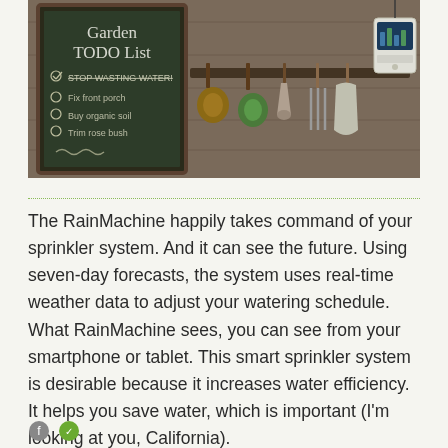[Figure (photo): A rustic wooden wall with garden tools hanging on a rack. On the left, a chalkboard reads 'Garden TODO List' with items including 'STOP WASTING WATER!', 'Fix front porch', 'Buy organic soil', 'Trim rose bush'. On the right side of the wall, various garden tools (trowels, cultivators, scoops) are hung, along with spools of string and a smart irrigation controller device.]
The RainMachine happily takes command of your sprinkler system. And it can see the future. Using seven-day forecasts, the system uses real-time weather data to adjust your watering schedule. What RainMachine sees, you can see from your smartphone or tablet. This smart sprinkler system is desirable because it increases water efficiency. It helps you save water, which is important (I'm looking at you, California).